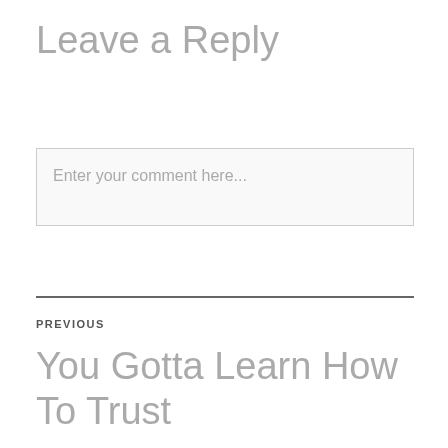Leave a Reply
Enter your comment here...
PREVIOUS
You Gotta Learn How To Trust